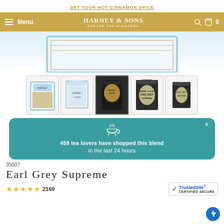GET YOUR HOT CINNAMON SPICE
HARNEY & SONS MASTER TEA BLENDERS — Menu — 0
[Figure (photo): Partial view of a Harney & Sons Earl Grey Supreme tea product box with blue and gold detailing]
[Figure (photo): Row of 5 product thumbnail images showing various Harney & Sons Earl Grey Supreme tea packaging formats: gift box, tin, pouch, dark tin, small tin]
459 tea lovers have shopped this blend in the last 24 hours
35007
Earl Grey Supreme
★★★★★ 2169
[Figure (logo): TrustedSite Certified Secure badge]